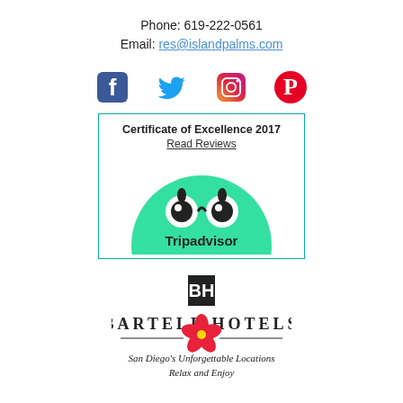Phone: 619-222-0561
Email: res@islandpalms.com
[Figure (illustration): Four social media icons: Facebook (blue), Twitter (light blue bird), Instagram (gradient camera), Pinterest (red P)]
[Figure (logo): TripAdvisor Certificate of Excellence 2017 box with Read Reviews link and Tripadvisor owl logo on green semicircle background]
[Figure (logo): Bartell Hotels logo: BH monogram in black square, BARTELL HOTELS text with hibiscus flower, tagline San Diego's Unforgettable Locations, Relax and Enjoy]
Copyright © 2022 Bartell Hotels